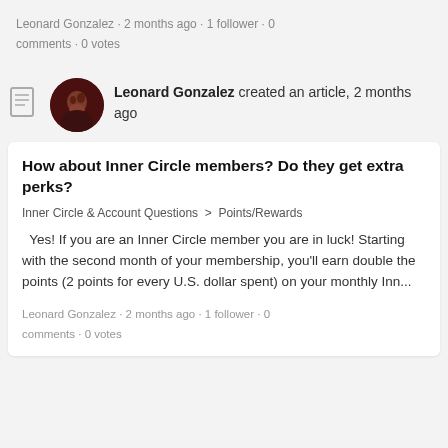Leonard Gonzalez · 2 months ago · 1 follower · 0 comments · 0 votes
Leonard Gonzalez created an article, 2 months ago
How about Inner Circle members? Do they get extra perks?
Inner Circle & Account Questions > Points/Rewards
Yes! If you are an Inner Circle member you are in luck! Starting with the second month of your membership, you'll earn double the points (2 points for every U.S. dollar spent) on your monthly Inn...
Leonard Gonzalez · 2 months ago · 1 follower · 0 comments · 0 votes